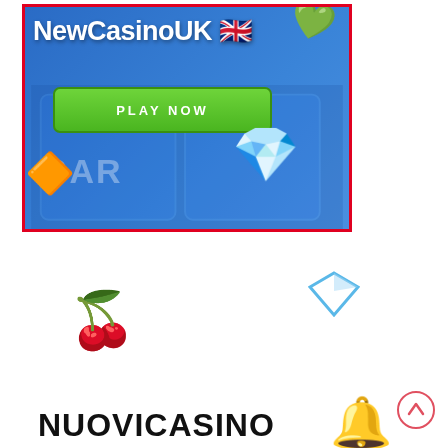[Figure (illustration): Casino advertisement banner with blue gradient background, red border, 'NewCasinoUK' text with UK flag emoji, green 'PLAY NOW' button, gem decorations (blue diamond, orange gem, green gem), and 'BAR' slot machine text]
[Figure (illustration): Bottom section of webpage showing cherry emoji, blue diamond emoji, 'NUOVICASINO' text in bold black, bell emoji, and a circular scroll-up arrow button]